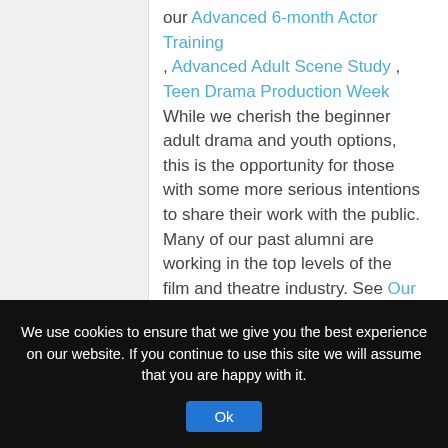our Advanced 6-month Actor Training , Advanced Adult Scene Study , Teen Drama Production Week  While we cherish the beginner adult drama and youth options, this is the opportunity for those with some more serious intentions to share their work with the public. Many of our past alumni are working in the top levels of the film and theatre industry. See Our Alumni page.
6-MONTH ACTOR TRAINING PRESENTATION (Our most advanced course, director Kathleen Warner Yeates) TUES-WED, June 25th-26th @ 7:30PM, The end of a 6 month part-time acting course culminating in a series of dynamic
We use cookies to ensure that we give you the best experience on our website. If you continue to use this site we will assume that you are happy with it.